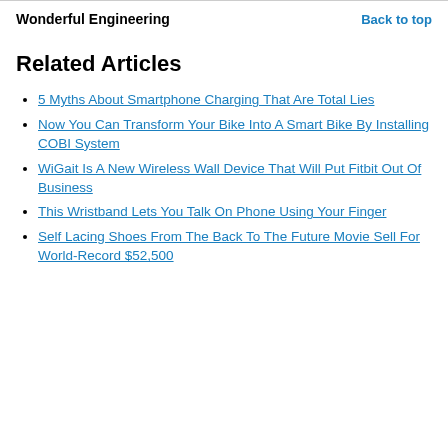Wonderful Engineering | Back to top
Related Articles
5 Myths About Smartphone Charging That Are Total Lies
Now You Can Transform Your Bike Into A Smart Bike By Installing COBI System
WiGait Is A New Wireless Wall Device That Will Put Fitbit Out Of Business
This Wristband Lets You Talk On Phone Using Your Finger
Self Lacing Shoes From The Back To The Future Movie Sell For World-Record $52,500